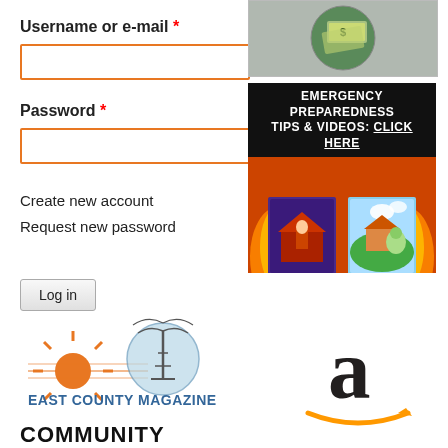Username or e-mail *
[Figure (screenshot): Empty text input field with orange border for username or e-mail]
Password *
[Figure (screenshot): Empty text input field with orange border for password]
Create new account
Request new password
[Figure (screenshot): Log in button with gray gradient styling]
[Figure (photo): Partial image of money/cash globe at top right]
[Figure (screenshot): Emergency Preparedness Tips & Videos: CLICK HERE banner with fire and safety images]
[Figure (logo): Amazon logo - large lowercase 'a' with orange smile arrow]
[Figure (logo): East County Magazine logo with sun and radio tower]
COMMUNITY